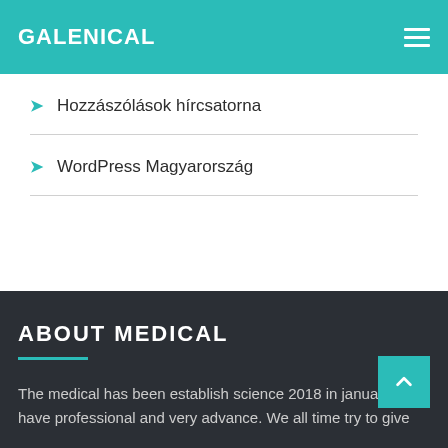GALENICAL
Hozzászólások hírcsatorna
WordPress Magyarország
ABOUT MEDICAL
The medical has been establish science 2018 in january. have professional and very advance. We all time try to give